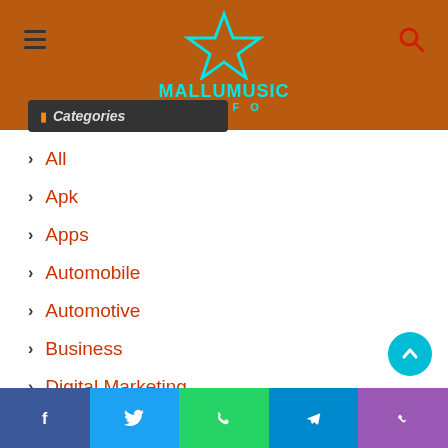MalluMusic.Info - Header with logo and navigation
Categories
All
Apk
Apps
Automobile
Automotive
Business
Digital Marketing
Education
Entertainment
Fashion
Facebook | Twitter | WhatsApp | Telegram | Phone